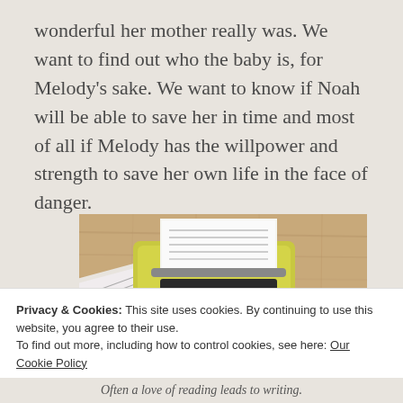wonderful her mother really was. We want to find out who the baby is, for Melody's sake. We want to know if Noah will be able to save her in time and most of all if Melody has the willpower and strength to save her own life in the face of danger.
[Figure (photo): A yellow vintage typewriter with paper loaded, sitting on a wooden surface beside an open book, viewed from above.]
Privacy & Cookies: This site uses cookies. By continuing to use this website, you agree to their use.
To find out more, including how to control cookies, see here: Our Cookie Policy
Close and accept
Often a love of reading leads to writing.